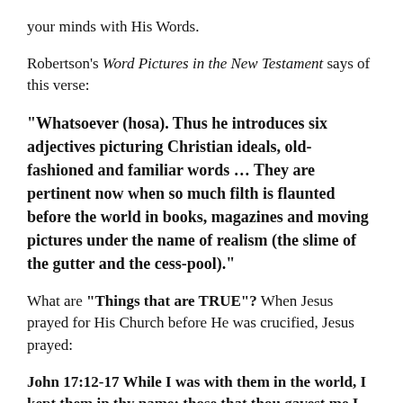your minds with His Words.
Robertson's Word Pictures in the New Testament says of this verse:
“Whatsoever (hosa). Thus he introduces six adjectives picturing Christian ideals, old-fashioned and familiar words … They are pertinent now when so much filth is flaunted before the world in books, magazines and moving pictures under the name of realism (the slime of the gutter and the cess-pool).”
What are “Things that are TRUE”? When Jesus prayed for His Church before He was crucified, Jesus prayed:
John 17:12-17 While I was with them in the world, I kept them in thy name: those that thou gavest me I